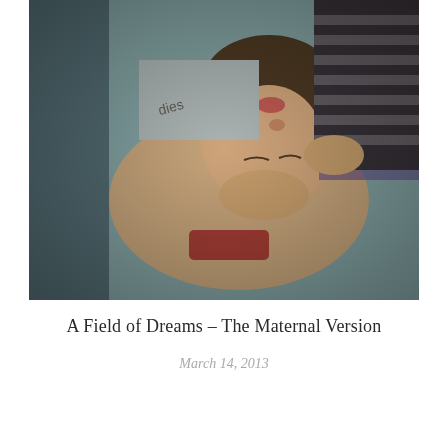[Figure (photo): A young child lying on their back, head tilted back looking upward, with an adult partially visible in the background wearing a striped shirt. The photo has a warm, slightly vintage toned color treatment.]
A Field of Dreams – The Maternal Version
March 14, 2013